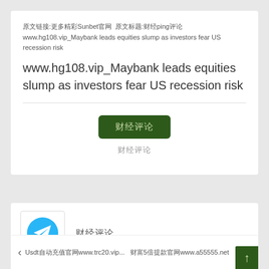原文链接:更多精彩Sunbet官网 原文标题:财经评论www.hg108.vip_Maybank leads equities slump as investors fear US recession risk
[Figure (other): Dark green rounded button with Chinese characters]
财经评论
[Figure (logo): Telegram logo icon — blue circle with white paper plane]
财经评论
Usdt自动充值官网www.trc20.vip... 财富5倍提款官网www.a55555.net↑